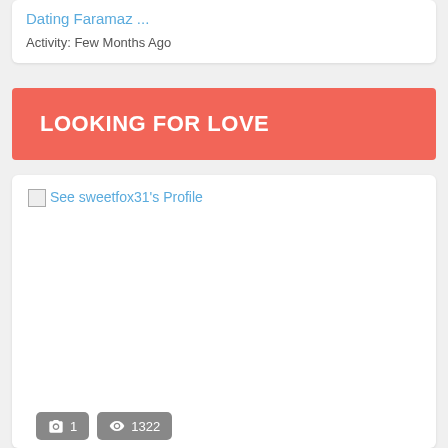Dating Faramaz ...
Activity: Few Months Ago
LOOKING FOR LOVE
[Figure (screenshot): Broken profile image placeholder with link text 'See sweetfox31's Profile']
1  1322